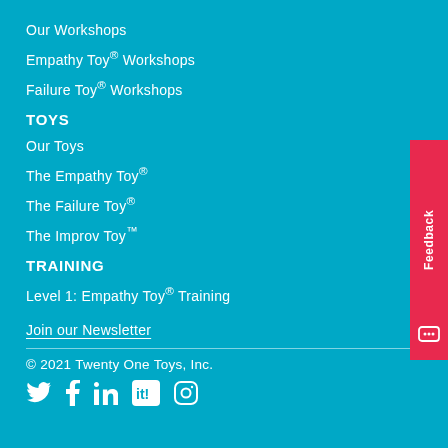Our Workshops
Empathy Toy® Workshops
Failure Toy® Workshops
TOYS
Our Toys
The Empathy Toy®
The Failure Toy®
The Improv Toy™
TRAINING
Level 1: Empathy Toy® Training
Join our Newsletter
© 2021 Twenty One Toys, Inc.
[Figure (other): Social media icons: Twitter, Facebook, LinkedIn, it!, Instagram]